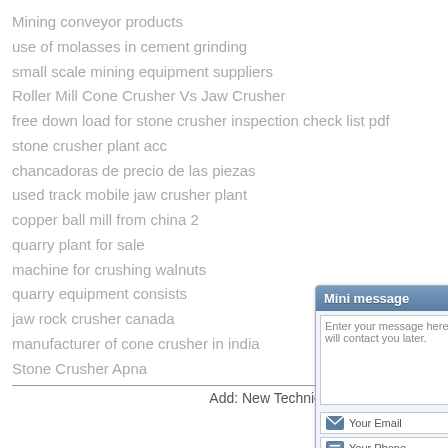Mining conveyor products
use of molasses in cement grinding
small scale mining equipment suppliers
Roller Mill Cone Crusher Vs Jaw Crusher
free down load for stone crusher inspection check list pdf
stone crusher plant acc
chancadoras de precio de las piezas
used track mobile jaw crusher plant
copper ball mill from china 2
quarry plant for sale
machine for crushing walnuts
quarry equipment consists
jaw rock crusher canada
manufacturer of cone crusher in india
Stone Crusher Apna
Add: New Technical
[Figure (screenshot): Mini message contact widget with textarea, email field, phone field, Email Us button and Send button]